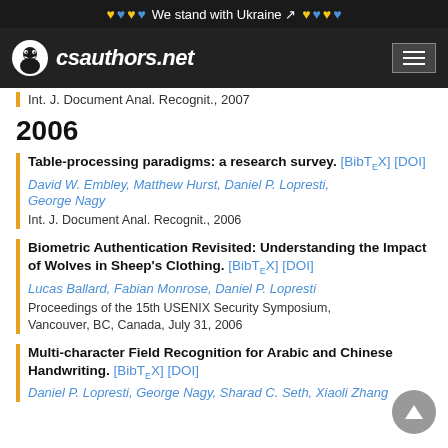We stand with Ukraine — csauthors.net
Int. J. Document Anal. Recognit., 2007
2006
Table-processing paradigms: a research survey. [BibTeX] [DOI]
David W. Embley, Matthew Hurst, Daniel P. Lopresti, George Nagy
Int. J. Document Anal. Recognit., 2006
Biometric Authentication Revisited: Understanding the Impact of Wolves in Sheep's Clothing. [BibTeX] [DOI]
Lucas Ballard, Fabian Monrose, Daniel P. Lopresti
Proceedings of the 15th USENIX Security Symposium, Vancouver, BC, Canada, July 31, 2006
Multi-character Field Recognition for Arabic and Chinese Handwriting. [BibTeX] [DOI]
Daniel P. Lopresti, George Nagy, Sharad C. Seth, Xiaoli Zhang